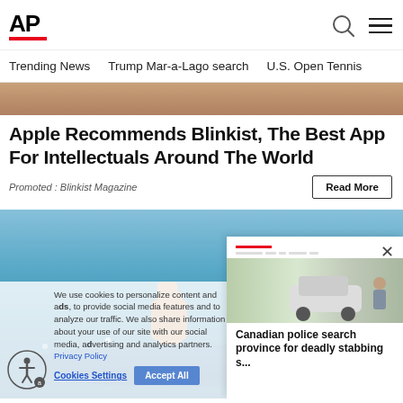AP
Trending News   Trump Mar-a-Lago search   U.S. Open Tennis
[Figure (photo): Partial view of a person with reddish hair against blue background - top image strip]
Apple Recommends Blinkist, The Best App For Intellectuals Around The World
Promoted : Blinkist Magazine
[Figure (photo): Person giving thumbs up emerging from water - ocean scene]
We use cookies to personalize content and ads, to provide social media features and to analyze our traffic. We also share information about your use of our site with our social media, advertising and analytics partners. Privacy Policy
Cookies Settings   Accept All
Canadian police search province for deadly stabbing s...